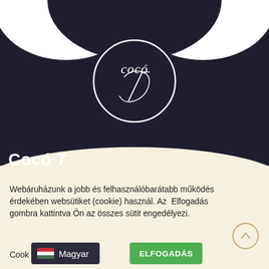[Figure (logo): Coco 7 logo: white cursive text inside a white circle on dark navy background with wave shape header]
Cocó 7
2016 szeptemberében megnyitottuk üzletünket, ahol saját
Webáruházunk a jobb és felhasználóbarátabb működés érdekében websütiket (cookie) használ. Az Elfogadás gombra kattintva Ön az összes sütit engedélyezi.
Cookie    ELFOGADÁS
[Figure (screenshot): Magyar language dropdown with Hungarian flag]